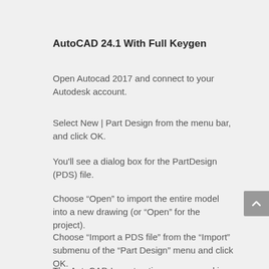AutoCAD 24.1 With Full Keygen
Open Autocad 2017 and connect to your Autodesk account.
Select New | Part Design from the menu bar, and click OK.
You'll see a dialog box for the PartDesign (PDS) file.
Choose “Open” to import the entire model into a new drawing (or “Open” for the project).
Choose “Import a PDS file” from the “Import” submenu of the “Part Design” menu and click OK.
The AutoCAD Import option appears, asking you to select the source file.